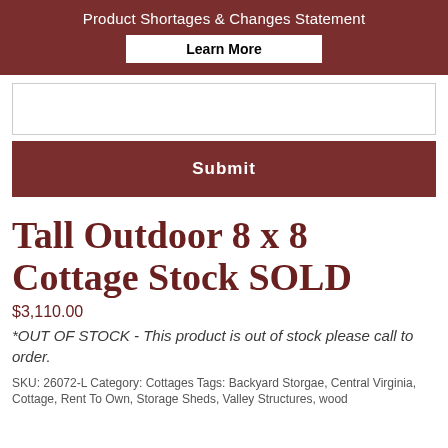Product Shortages & Changes Statement
Learn More
Submit
Tall Outdoor 8 x 8 Cottage Stock SOLD
$3,110.00
*OUT OF STOCK - This product is out of stock please call to order.
SKU: 26072-L Category: Cottages Tags: Backyard Storgae, Central Virginia, Cottage, Rent To Own, Storage Sheds, Valley Structures, wood